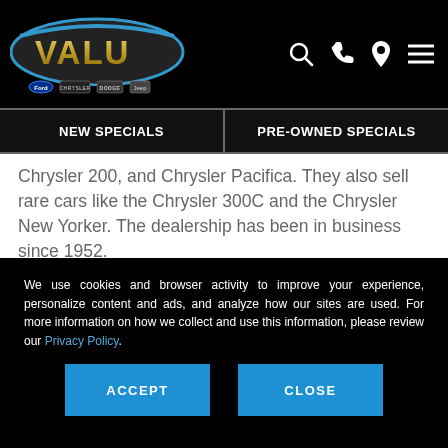[Figure (logo): Valu Ford Chrysler Dodge Jeep dealership logo on black background with brand icons below]
NEW SPECIALS | PRE-OWNED SPECIALS
Chrysler 200, and Chrysler Pacifica. They also sell rare cars like the Chrysler 300C and the Chrysler New Yorker. The dealership has been in business since 1952.
The Chrysler dealership is happy to help customers buy their car, finance it, lease it, or get more
We use cookies and browser activity to improve your experience, personalize content and ads, and analyze how our sites are used. For more information on how we collect and use this information, please review our Privacy Policy.